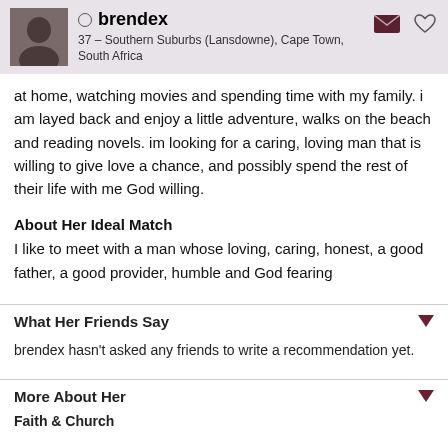brendex
37 – Southern Suburbs (Lansdowne), Cape Town, South Africa
at home, watching movies and spending time with my family. i am layed back and enjoy a little adventure, walks on the beach and reading novels. im looking for a caring, loving man that is willing to give love a chance, and possibly spend the rest of their life with me God willing.
About Her Ideal Match
I like to meet with a man whose loving, caring, honest, a good father, a good provider, humble and God fearing
What Her Friends Say
brendex hasn't asked any friends to write a recommendation yet.
More About Her
Faith & Church